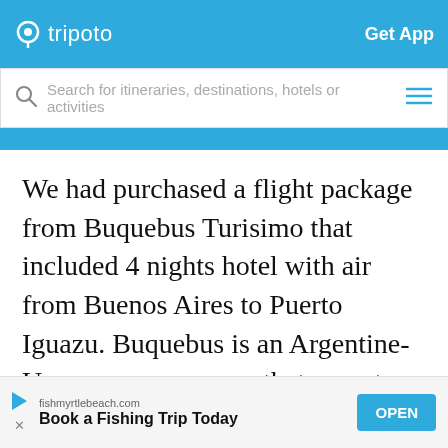tripoto | Get App
Search for itineraries, destinations, hotels or activities
We had purchased a flight package from Buquebus Turisimo that included 4 nights hotel with air from Buenos Aires to Puerto Iguazu. Buquebus is an Argentine-Uruguayan company that operates ferry services from Buenos Aires, Argentina to Montevideo, Uruguay, and also offers tours and packages.
http://www.buquesbuoturismo.com/busue
fishmyrtlebeach.com Book a Fishing Trip Today OPEN